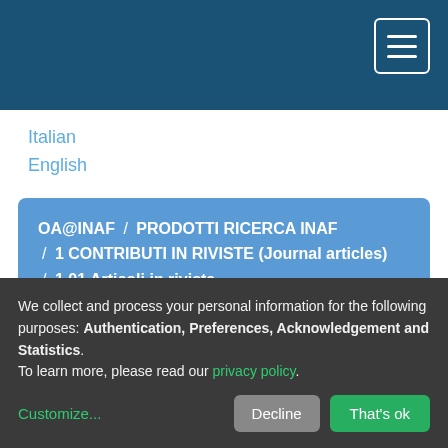[Figure (screenshot): Dark blue header navigation bar with hamburger menu icon (three white lines in a white-bordered rectangle) in the top right corner.]
Italian
English
OA@INAF / PRODOTTI RICERCA INAF / 1 CONTRIBUTI IN RIVISTE (Journal articles) / 1.01 Articoli in rivista
Please use this identifier to cite or link to this item:
http://hdl.handle.net/20.500.12386/31634
We collect and process your personal information for the following purposes: Authentication, Preferences, Acknowledgement and Statistics.
To learn more, please read our privacy policy.
Customize...
Decline
That's ok